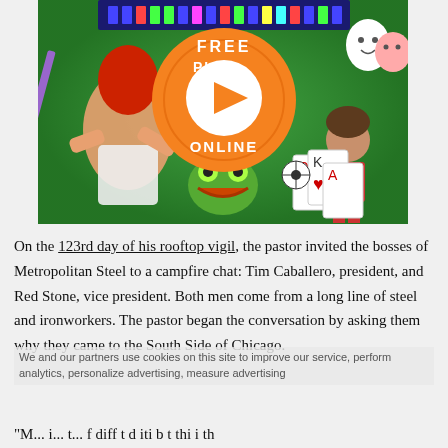[Figure (illustration): A colorful online gaming banner with animated cartoon characters, an orange 'FREE PLAY ONLINE' circle with a play button, and various game-themed characters on a green background.]
On the 123rd day of his rooftop vigil, the pastor invited the bosses of Metropolitan Steel to a campfire chat: Tim Caballero, president, and Red Stone, vice president. Both men come from a long line of steel and ironworkers. The pastor began the conversation by asking them why they came to the South Side of Chicago.
"We and our partners use cookies on this site to improve our service, perform analytics, personalize advertising, measure advertising ..."
"M... i... t... f diff t d iti b t thi i th